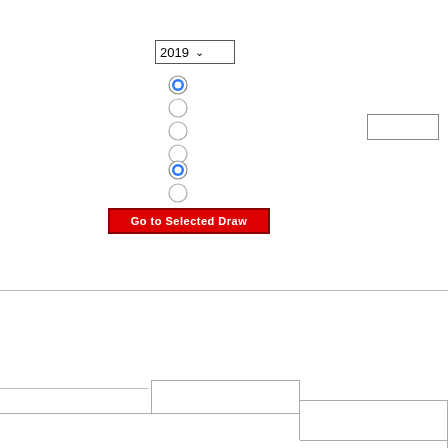[Figure (screenshot): A UI widget showing a year dropdown selector set to 2019 with a downward arrow, six radio buttons (first and fifth selected/filled in blue, others empty), a small rectangular input box on the right side, a red button labeled 'Go to Selected Draw', a horizontal divider line, and bracket/table lines at the bottom of the page.]